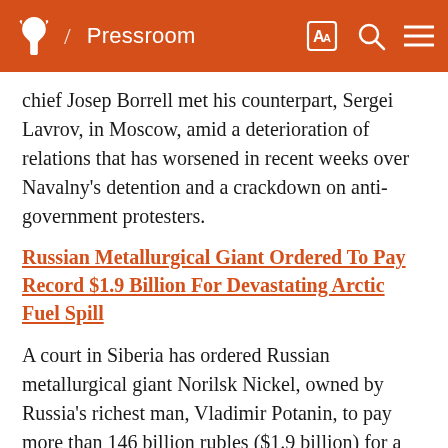/ Pressroom
chief Josep Borrell met his counterpart, Sergei Lavrov, in Moscow, amid a deterioration of relations that has worsened in recent weeks over Navalny's detention and a crackdown on anti-government protesters.
Russian Metallurgical Giant Ordered To Pay Record $1.9 Billion For Devastating Arctic Fuel Spill
A court in Siberia has ordered Russian metallurgical giant Norilsk Nickel, owned by Russia's richest man, Vladimir Potanin, to pay more than 146 billion rubles ($1.9 billion) for a spill that dumped thousands of tons of diesel fuel into the Russian Arctic last year. Russia's environmental watchdog, Rosprirodnadzor, originally sought 148 billion rubles from Norilsk in compensation for the spill, one of the worst